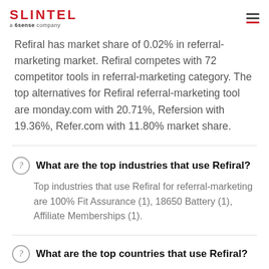SLINTEL a 6sense company
Refiral has market share of 0.02% in referral-marketing market. Refiral competes with 72 competitor tools in referral-marketing category. The top alternatives for Refiral referral-marketing tool are monday.com with 20.71%, Refersion with 19.36%, Refer.com with 11.80% market share.
What are the top industries that use Refiral?
Top industries that use Refiral for referral-marketing are 100% Fit Assurance (1), 18650 Battery (1), Affiliate Memberships (1).
What are the top countries that use Refiral?